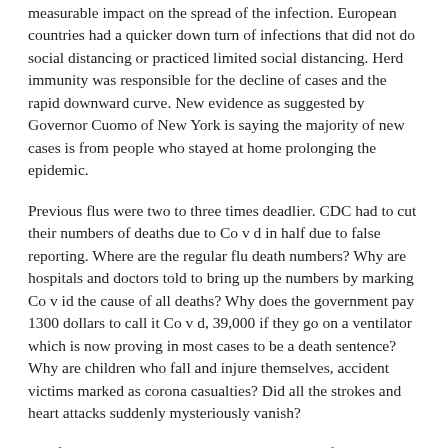measurable impact on the spread of the infection. European countries had a quicker down turn of infections that did not do social distancing or practiced limited social distancing. Herd immunity was responsible for the decline of cases and the rapid downward curve. New evidence as suggested by Governor Cuomo of New York is saying the majority of new cases is from people who stayed at home prolonging the epidemic.
Previous flus were two to three times deadlier. CDC had to cut their numbers of deaths due to Co v d in half due to false reporting. Where are the regular flu death numbers? Why are hospitals and doctors told to bring up the numbers by marking Co v id the cause of all deaths? Why does the government pay 1300 dollars to call it Co v d, 39,000 if they go on a ventilator which is now proving in most cases to be a death sentence? Why are children who fall and injure themselves, accident victims marked as corona casualties? Did all the strokes and heart attacks suddenly mysteriously vanish?
The fear and science altered by personal and profitable agendas turned out to be false, extremely overreacting with 1/3rd to 1/4th of the reported and projected casualties. Despite the new evidence the majority of the main stream news is still promoting